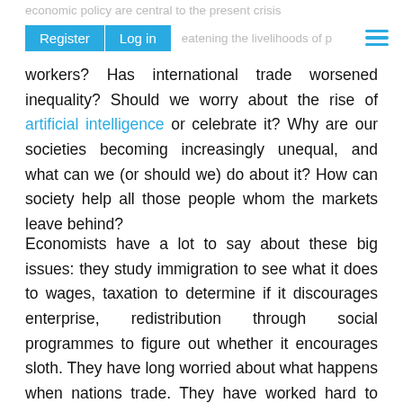economic policy are central to the present crisis
Register | Log in   threatening the livelihoods of people
workers? Has international trade worsened inequality? Should we worry about the rise of artificial intelligence or celebrate it? Why are our societies becoming increasingly unequal, and what can we (or should we) do about it? How can society help all those people whom the markets leave behind?
Economists have a lot to say about these big issues: they study immigration to see what it does to wages, taxation to determine if it discourages enterprise, redistribution through social programmes to figure out whether it encourages sloth. They have long worried about what happens when nations trade. They have worked hard to understand why some countries grow and others don't, and what, if anything, governments can do to help. They gather data on what makes people generous or wary.